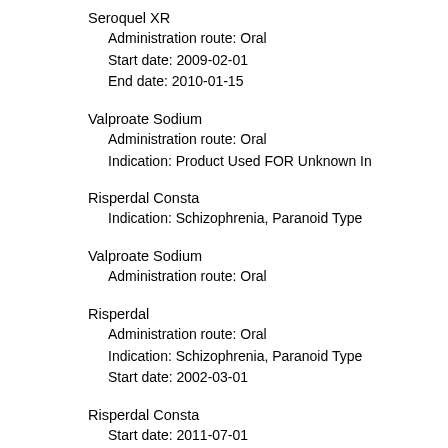Seroquel XR
  Administration route: Oral
  Start date: 2009-02-01
  End date: 2010-01-15
Valproate Sodium
  Administration route: Oral
  Indication: Product Used FOR Unknown In
Risperdal Consta
  Indication: Schizophrenia, Paranoid Type
Valproate Sodium
  Administration route: Oral
Risperdal
  Administration route: Oral
  Indication: Schizophrenia, Paranoid Type
  Start date: 2002-03-01
Risperdal Consta
  Start date: 2011-07-01
Seroquel XR
  Administration route: Oral